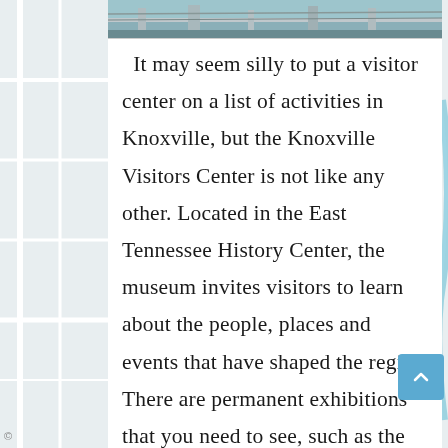[Figure (photo): Partial view of a building or infrastructure photo strip at the top of the content card, showing architectural/civic elements in muted blue-gray tones.]
It may seem silly to put a visitor center on a list of activities in Knoxville, but the Knoxville Visitors Center is not like any other. Located in the East Tennessee History Center, the museum invites visitors to learn about the people, places and events that have shaped the region. There are permanent exhibitions that you need to see, such as the Tennessee State Museum of Natural History and the University of Tennessee Museum. Located on the campus of the University of Tennessee, Knoxville